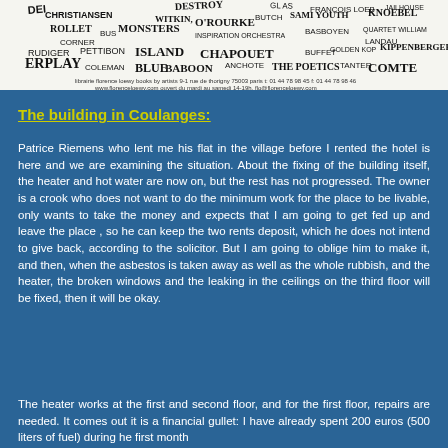[Figure (illustration): A hand-drawn artistic image with many artist names written in various styles and sizes, including names like Christiansen, Destroy, Francois, Loeb, Knoebel, Rollet, Bus Monsters, Inspiration Orchestra, Basboyen, Quartet William, Landau, Rudiger, Pettibon, Island, Chapouet, Buffet, Golden Kop, Kippenberger, Erplay, Coleman, Blue, Baboon, Anchote, The Poetics, Cage, Comte, and others. Bottom contains address text: Librairie florence loewy books by artists 9-1 rue de thorigny 75003 paris t: 01 44 78 98 45 f: 01 44 78 98 46 www.florenceloewy.com ouvert du mardi au samedi 14-19h. flo@florenceloewy.com]
The building in Coulanges:
Patrice Riemens who lent me his flat in the village before I rented the hotel is here and we are examining the situation. About the fixing of the building itself, the heater and hot water are now on, but the rest has not progressed. The owner is a crook who does not want to do the minimum work for the place to be livable, only wants to take the money and expects that I am going to get fed up and leave the place , so he can keep the two rents deposit, which he does not intend to give back, according to the solicitor. But I am going to oblige him to make it, and then, when the asbestos is taken away as well as the whole rubbish, and the heater, the broken windows and the leaking in the ceilings on the third floor will be fixed, then it will be okay.
The heater works at the first and second floor, and for the first floor, repairs are needed. It comes out it is a financial gullet: I have already spent 200 euros (500 liters of fuel) during he first month